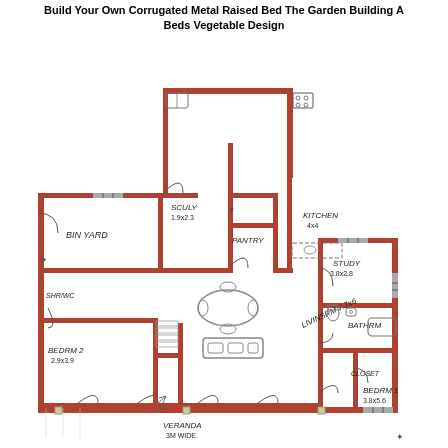Build Your Own Corrugated Metal Raised Bed The Garden Building A Beds Vegetable Design
[Figure (engineering-diagram): Hand-drawn architectural floor plan showing rooms: BIN YARD, SCULLERY (1.9x2.3), PANTRY, KITCHEN (4x4), LIVING RM (7.7x6), STUDY (3.8x2.8), BATHRM, CLOSET, BEDRM 2 (2.9x3.9), BEDRM 1 (3.8x5.6), VERANDA (3M WIDE). Includes furniture layout such as dining table, chairs, couch, and fixtures. Walls shown in red/brown, windows and doors indicated.]